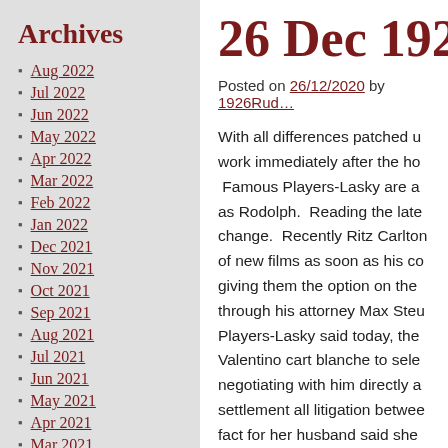Archives
Aug 2022
Jul 2022
Jun 2022
May 2022
Apr 2022
Mar 2022
Feb 2022
Jan 2022
Dec 2021
Nov 2021
Oct 2021
Sep 2021
Aug 2021
Jul 2021
Jun 2021
May 2021
Apr 2021
Mar 2021
26 Dec 192...
Posted on 26/12/2020 by 1926Rud...
With all differences patched u... work immediately after the ho... Famous Players-Lasky are a... as Rodolph. Reading the late... change. Recently Ritz Carlton... of new films as soon as his co... giving them the option on the... through his attorney Max Steu... Players-Lasky said today, the... Valentino cart blanche to sele... negotiating with him directly a... settlement all litigation betwee... fact for her husband said she... affixed her signature to the co... see Rudolph again in a positi... were made while we were ab...